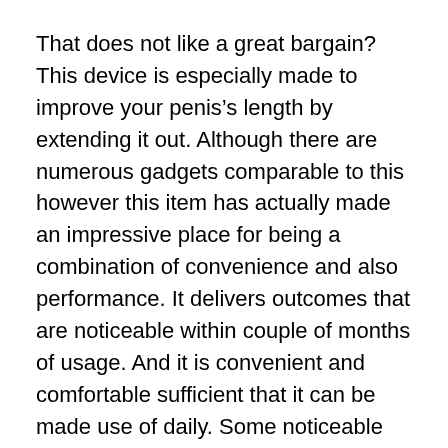That does not like a great bargain? This device is especially made to improve your penis’s length by extending it out. Although there are numerous gadgets comparable to this however this item has actually made an impressive place for being a combination of convenience and also performance. It delivers outcomes that are noticeable within couple of months of usage. And it is convenient and comfortable sufficient that it can be made use of daily. Some noticeable benefits of Phallosan specialty are; improved girth as well as size of penis, far better erection for much better sex, and it can be made use of for any kind of penis size.
This penis augmentation gadget is liked for its simplicity of use. The main basis the f...